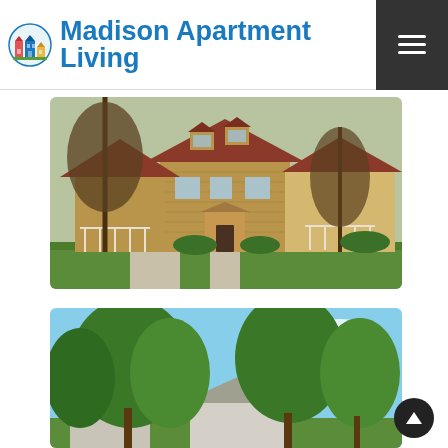Madison Apartment Living
[Figure (photo): Exterior photo of a multi-unit brick apartment complex with dormers, trees in foreground, porches with white railings, green lawn, spring/fall setting]
[Figure (photo): Exterior photo of residential buildings with large green trees and blue sky, partial view of roofline]